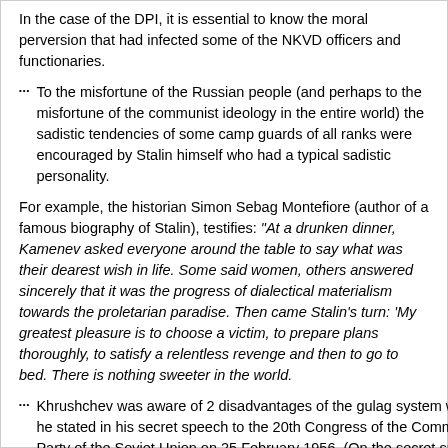In the case of the DPI, it is essential to know the moral perversion that had infected some of the NKVD officers and functionaries.
To the misfortune of the Russian people (and perhaps to the misfortune of the communist ideology in the entire world) the sadistic tendencies of some camp guards of all ranks were encouraged by Stalin himself who had a typical sadistic personality.
For example, the historian Simon Sebag Montefiore (author of a famous biography of Stalin), testifies: "At a drunken dinner, Kamenev asked everyone around the table to say what was their dearest wish in life. Some said women, others answered sincerely that it was the progress of dialectical materialism towards the proletarian paradise. Then came Stalin's turn: 'My greatest pleasure is to choose a victim, to prepare plans thoroughly, to satisfy a relentless revenge and then to go to bed. There is nothing sweeter in the world.
Khrushchev was aware of 2 disadvantages of the gulag system which he stated in his secret speech to the 20th Congress of the Communist Party of the Soviet Union on 25 February 1956. (On the secret speech, which is quite lengthy and almost unreadable, see among many other sources : ) https://en.wikipedia.org/wiki/On_the_Cult_of_Personality_and_Its_Cor